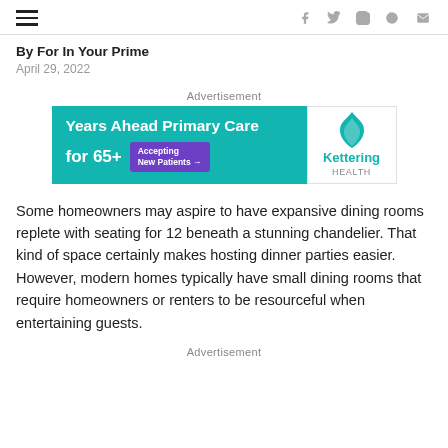By For In Your Prime | April 29, 2022
Advertisement
[Figure (other): Kettering Health advertisement banner: 'Years Ahead Primary Care for 65+' with teal background and Kettering Health logo]
Some homeowners may aspire to have expansive dining rooms replete with seating for 12 beneath a stunning chandelier. That kind of space certainly makes hosting dinner parties easier. However, modern homes typically have small dining rooms that require homeowners or renters to be resourceful when entertaining guests.
Advertisement